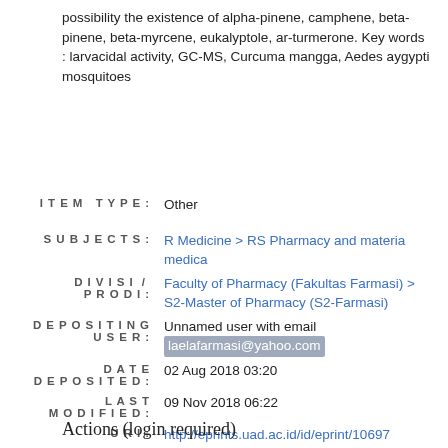possibility the existence of alpha-pinene, camphene, beta-pinene, beta-myrcene, eukalyptole, ar-turmerone. Key words : larvacidal activity, GC-MS, Curcuma mangga, Aedes aygypti mosquitoes
| Field | Value |
| --- | --- |
| ITEM TYPE: | Other |
| SUBJECTS: | R Medicine > RS Pharmacy and materia medica |
| DIVISI / PRODI: | Faculty of Pharmacy (Fakultas Farmasi) > S2-Master of Pharmacy (S2-Farmasi) |
| DEPOSITING USER: | Unnamed user with email laelafarmasi@yahoo.com |
| DATE DEPOSITED: | 02 Aug 2018 03:20 |
| LAST MODIFIED: | 09 Nov 2018 06:22 |
| URI: | http://eprints.uad.ac.id/id/eprint/10697 |
Actions (login required)